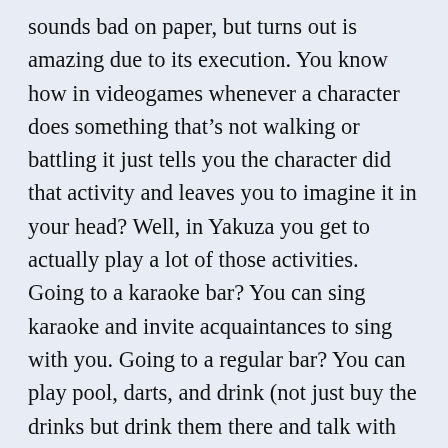sounds bad on paper, but turns out is amazing due to its execution. You know how in videogames whenever a character does something that's not walking or battling it just tells you the character did that activity and leaves you to imagine it in your head? Well, in Yakuza you get to actually play a lot of those activities. Going to a karaoke bar? You can sing karaoke and invite acquaintances to sing with you. Going to a regular bar? You can play pool, darts, and drink (not just buy the drinks but drink them there and talk with the bartender). Going to the arcade? You can play UFO catchers and all the arcade games you see on the machines. Wanna go fishing? You can do that. You wanna play some board games? There's a bunch of homeless people waiting to take your money. You can play with pocket cars, dance at